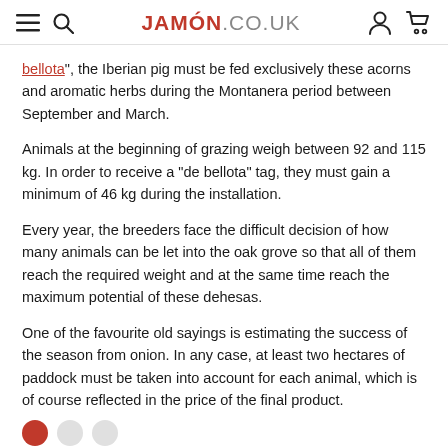JAMÓN.CO.UK
bellota", the Iberian pig must be fed exclusively these acorns and aromatic herbs during the Montanera period between September and March.
Animals at the beginning of grazing weigh between 92 and 115 kg. In order to receive a "de bellota" tag, they must gain a minimum of 46 kg during the installation.
Every year, the breeders face the difficult decision of how many animals can be let into the oak grove so that all of them reach the required weight and at the same time reach the maximum potential of these dehesas.
One of the favourite old sayings is estimating the success of the season from onion. In any case, at least two hectares of paddock must be taken into account for each animal, which is of course reflected in the price of the final product.